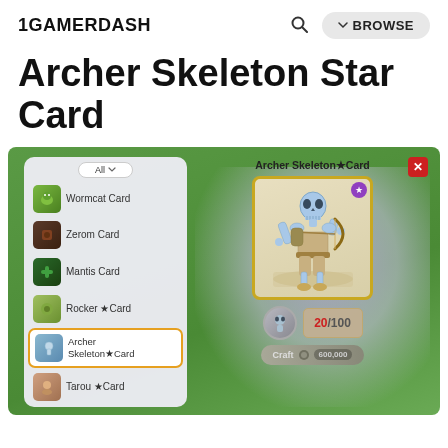1GAMERDASH
Archer Skeleton Star Card
[Figure (screenshot): Game screenshot showing the Archer Skeleton Star Card item in a card crafting UI. Left panel shows a scrollable list of cards including Wormcat Card, Zerom Card, Mantis Card, Rocker ★Card, Archer Skeleton★Card (selected, highlighted with gold border), and Tarou ★Card. Right panel shows the selected card 'Archer Skeleton★Card' with a large illustration of a skeleton archer character, a purple star badge, crafting ingredients showing 20/100 count, and a grayed-out Craft button.]